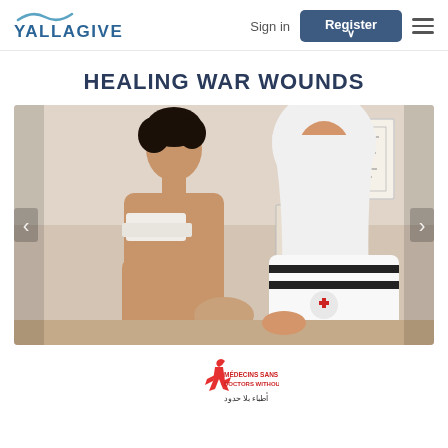YALLAGIVE — Sign in | Register
HEALING WAR WOUNDS
[Figure (photo): A medical worker wearing a white hijab and MSF (Médecins Sans Frontières) vest is treating/dressing wounds on a shirtless young man's shoulder/chest area in a clinical room. There is Arabic text on the wall in the background.]
[Figure (logo): Médecins Sans Frontières (MSF / Doctors Without Borders) logo with Arabic text below]